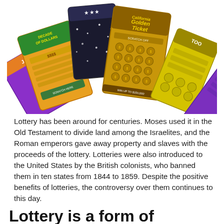[Figure (illustration): A fan of multiple lottery scratch tickets spread out, including 'Decade of Dollars' (green, orange), a golden 'Golden Ticket', and several other colorful scratch cards arranged in a fan pattern.]
Lottery has been around for centuries. Moses used it in the Old Testament to divide land among the Israelites, and the Roman emperors gave away property and slaves with the proceeds of the lottery. Lotteries were also introduced to the United States by the British colonists, who banned them in ten states from 1844 to 1859. Despite the positive benefits of lotteries, the controversy over them continues to this day.
Lottery is a form of gambling